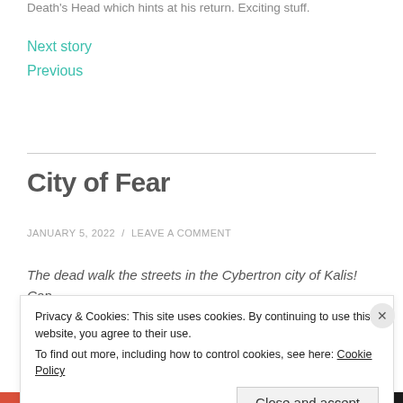Death's Head which hints at his return. Exciting stuff.
Next story
Previous
City of Fear
JANUARY 5, 2022 / LEAVE A COMMENT
The dead walk the streets in the Cybertron city of Kalis! Can
Privacy & Cookies: This site uses cookies. By continuing to use this website, you agree to their use.
To find out more, including how to control cookies, see here: Cookie Policy
Close and accept